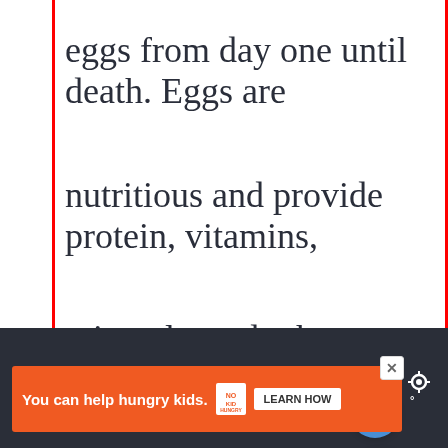eggs from day one until death. Eggs are nutritious and provide protein, vitamins, minerals, and other nutrients. Chickens can eat eggs because they have a strong digestive system that allows th…
[Figure (other): Heart (like) button — circular blue button with white heart icon]
[Figure (other): Share button — circular white button with share icon]
[Figure (infographic): What's Next panel showing a thumbnail image of a person and text: WHAT'S NEXT → Can a toddler eat too man...]
[Figure (infographic): Advertisement banner: orange background with text 'You can help hungry kids.' No Kid Hungry logo and LEARN HOW button]